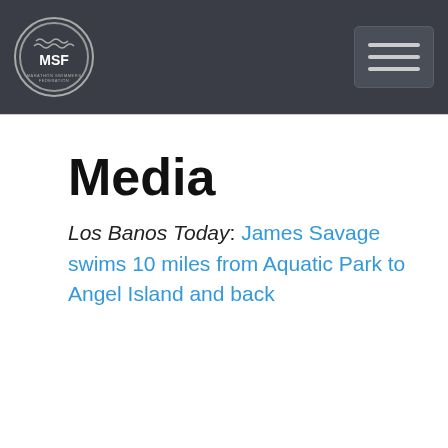[Figure (logo): MSF logo — circular badge with MSF letters and wavy lines, white border on dark background]
Media
Los Banos Today: James Savage swims 10 miles from Aquatic Park to Angel Island and back